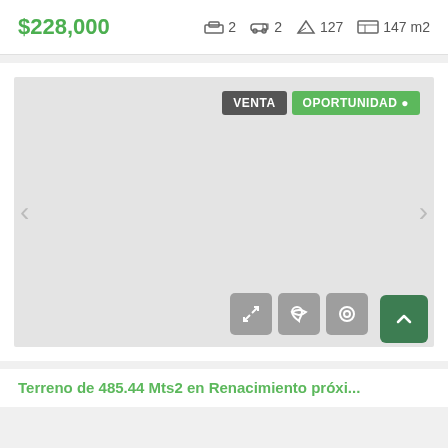$228,000   2  2  127  147 m2
[Figure (photo): Real estate property photo placeholder — large light gray rectangle with VENTA and OPORTUNIDAD badges in top-right, navigation chevrons on sides, and action icon buttons (expand, heart, location) at bottom-right]
Terreno de 485.44 Mts2 en Renacimiento próxi...